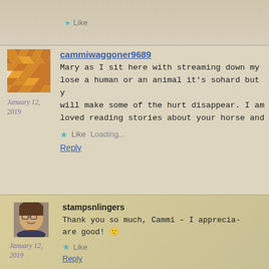[Figure (screenshot): Top portion of a truncated comment with a Like star button visible]
cammiwaggoner9689
January 12, 2019
Mary as I sit here with streaming down my lose a human or an animal it's sohard but y will make some of the hurt disappear. I am loved reading stories about your horse and
Loading...
Like
Reply
stampsnlingers
January 12, 2019
Thank you so much, Cammi – I apprecia- are good! 🙂
Like
Reply